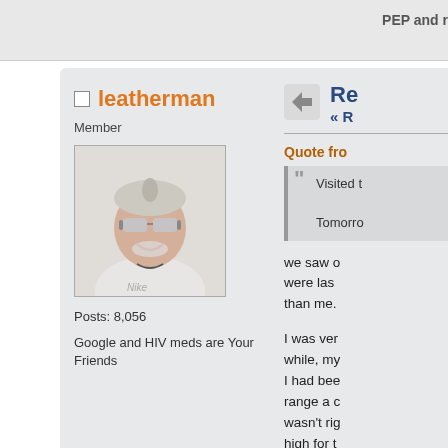PEP and ...
leatherman
Member
[Figure (photo): Profile photo of a man wearing mirrored sunglasses and a white shirt, smiling, with short light-colored hair]
Posts: 8,056
Google and HIV meds are Your Friends
Re
« R
Quote fro
Visited t

Tomorro
we saw o were las than me.
I was ver while, my I had bee range a c wasn't rig high for t
Within th is sendin